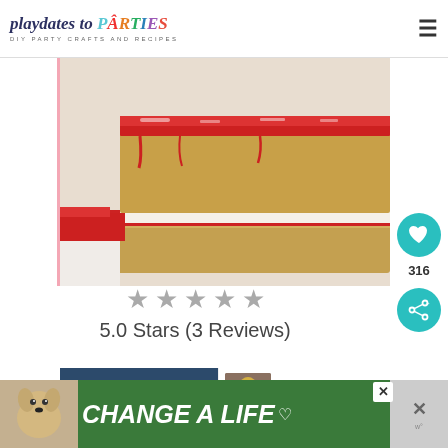playdates to PARTIES - DIY PARTY CRAFTS AND RECIPES
[Figure (photo): Close-up photo of rice crispy treat bars with red strawberry jam/sauce on top and powdered sugar, stacked on white plate]
★★★★★
5.0 Stars (3 Reviews)
PRINT
WHAT'S NEXT → Pumpkin Bars with a...
♡ SAVE
[Figure (photo): Advertisement banner: dog photo with text CHANGE A LIFE in italic white font on green background]